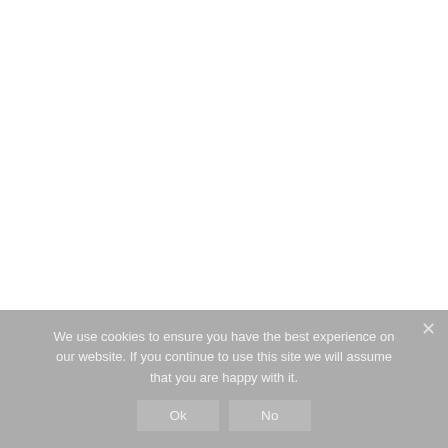We use cookies to ensure you have the best experience on our website. If you continue to use this site we will assume that you are happy with it.
Ok   No